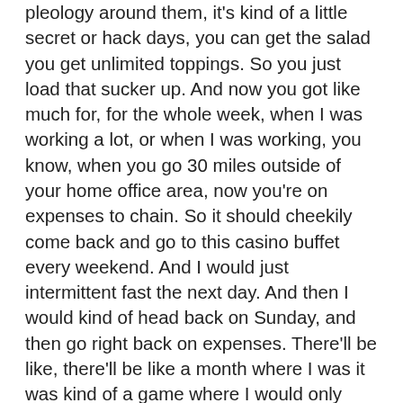pleology around them, it's kind of a little secret or hack days, you can get the salad you get unlimited toppings. So you just load that sucker up. And now you got like much for, for the whole week, when I was working a lot, or when I was working, you know, when you go 30 miles outside of your home office area, now you're on expenses to chain. So it should cheekily come back and go to this casino buffet every weekend. And I would just intermittent fast the next day. And then I would kind of head back on Sunday, and then go right back on expenses. There'll be like, there'll be like a month where I was it was kind of a game where I would only spend $100 out of my own pocket. I would charge my my anchor battery box at work. You know, I don't know if that's super unique or not. But I don't know just too much time on my hands to be honest, you know, like time was very, was not valuable back then. So I would secure out and do a lot of this type of stuff. And people can check out my whole laundry list of things